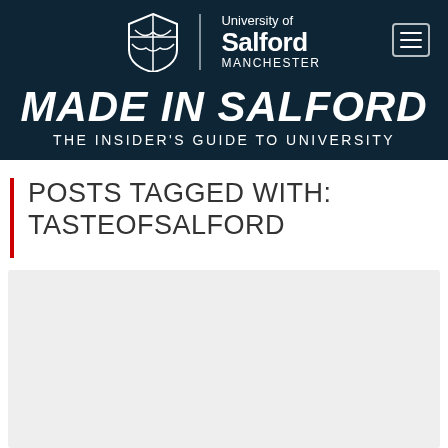[Figure (logo): University of Salford Manchester shield logo with navigation bar on dark navy background]
MADE IN SALFORD THE INSIDER'S GUIDE TO UNIVERSITY
POSTS TAGGED WITH: TASTEOFSALFORD
[Figure (screenshot): Grey placeholder card area for blog post]